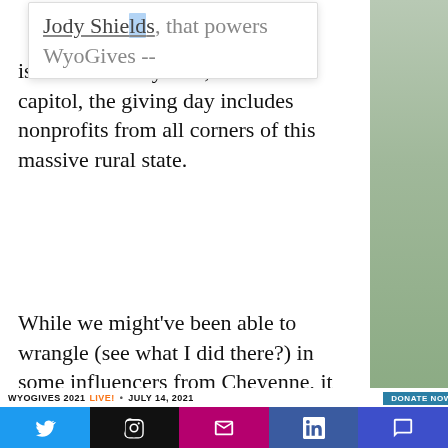the Align Team -- the group, headed by Jody Shields, that powers WyoGives -- is based in Cheyenne, the state's capitol, the giving day includes nonprofits from all corners of this massive rural state.
While we might've been able to wrangle (see what I did there?) in some influencers from Cheyenne, it was very important to Jody to demonstrate that WyoGives is truly a statewide effort, with an equitable focus on nonprofits from all regions of the state.
[Figure (screenshot): Video stream thumbnail showing WYOGIVES 2021 LIVE banner with DONATE NOW AT WYOGIVES.ORG button and video thumbnails of participants]
[Figure (infographic): Social sharing bar with Twitter, Instagram, Email, LinkedIn, and Comment buttons]